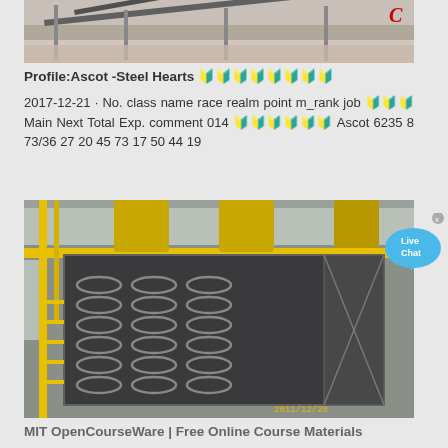[Figure (photo): Industrial conveyor belt system with gravel/aggregate, partial view from top]
Profile:Ascot -Steel Hearts 🔰🔰🔰🔰🔰🔰🔰🔰
2017-12-21 · No. class name race realm point m_rank job 🔰🔰🔰 Main Next Total Exp. comment 014 🔰🔰🔰🔰🔰🔰 Ascot 6235 8 73/36 27 20 45 73 17 50 44 19
[Figure (photo): Industrial facility with large spiral/coil conveyor systems, yellow railings, dated 2011/12/28]
MIT OpenCourseWare | Free Online Course Materials
2020-12-30 · Freq CELEX Freq Word Transcription Syl template 23073 844701 a [el] V 0 abb [&b] VC 3 Abe [elb] VC